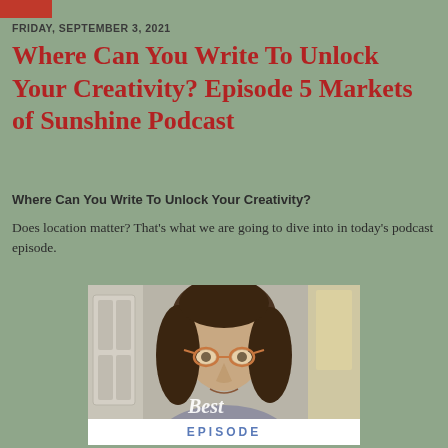[Figure (logo): Red rectangle logo in top-left corner]
FRIDAY, SEPTEMBER 3, 2021
Where Can You Write To Unlock Your Creativity? Episode 5 Markets of Sunshine Podcast
Where Can You Write To Unlock Your Creativity?
Does location matter?  That's what we are going to dive into in today's podcast episode.
[Figure (photo): Woman with glasses and brown hair, text overlay reading 'Best' in script, with 'EPISODE' banner at bottom]